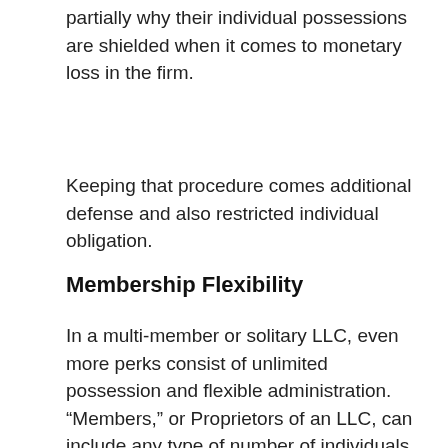partially why their individual possessions are shielded when it comes to monetary loss in the firm.
Keeping that procedure comes additional defense and also restricted individual obligation.
Membership Flexibility
In a multi-member or solitary LLC, even more perks consist of unlimited possession and flexible administration. “Members,” or Proprietors of an LLC, can include any type of number of individuals, collaborations, corporations, depends on, as well as also various other LLCs.